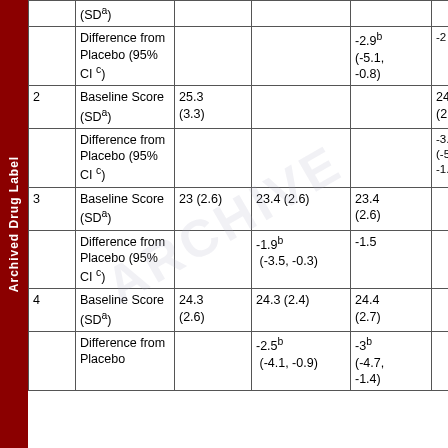|  |  | Col1 | Col2 | Col3 | Col4 |
| --- | --- | --- | --- | --- | --- |
|  | (SDᵃ) |  |  |  |  |
|  | Difference from Placebo (95% CIᶜ) |  |  | -2.9ᵇ (-5.1, -0.8) | -2... |
| 2 | Baseline Score (SDᵃ) | 25.3 (3.3) |  |  | 24.8 (2.9) |
|  | Difference from Placebo (95% CIᶜ) |  |  |  | -3... (-5.3, -1.2) |
| 3 | Baseline Score (SDᵃ) | 23 (2.6) | 23.4 (2.6) | 23.4 (2.6) |  |
|  | Difference from Placebo (95% CIᶜ) |  | -1.9ᵇ (-3.5, -0.3) | -1.5 |  |
| 4 | Baseline Score (SDᵃ) | 24.3 (2.6) | 24.3 (2.4) | 24.4 (2.7) |  |
|  | Difference from Placebo (95% CIᶜ) |  | -2.5ᵇ (-4.1, -0.9) | -3ᵇ (-4.7, -1.4) |  |